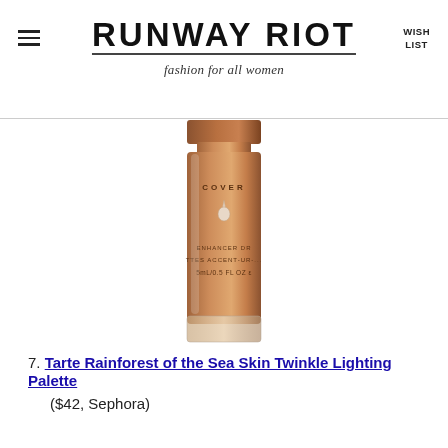RUNWAY RIOT — fashion for all women
[Figure (photo): Close-up of a bronze/copper-colored cosmetic bottle labeled 'COVER' with a droplet logo and text reading 'ENHANCER DROP / TTES ACCENT-UR-... / 5mL/0.5 FL OZ']
7. Tarte Rainforest of the Sea Skin Twinkle Lighting Palette ($42, Sephora)